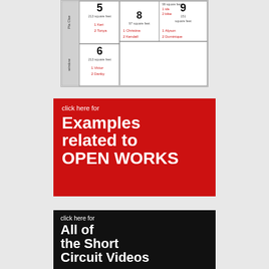[Figure (schematic): Floor plan diagram showing rooms numbered 5, 6, 8, 9 with square footage and resident names listed in red]
[Figure (infographic): Red banner button: 'click here for Examples related to OPEN WORKS']
[Figure (infographic): Black banner button with photo collage background: 'click here for All of the Short Circuit Videos']